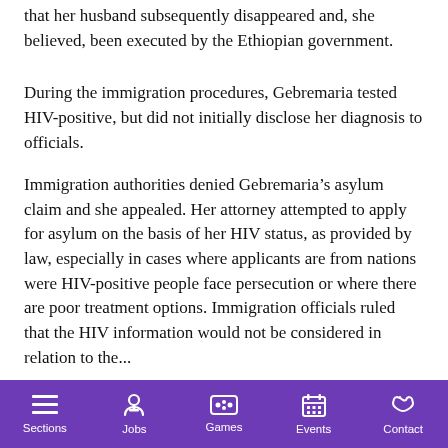that her husband subsequently disappeared and, she believed, been executed by the Ethiopian government.
During the immigration procedures, Gebremaria tested HIV-positive, but did not initially disclose her diagnosis to officials.
Immigration authorities denied Gebremaria’s asylum claim and she appealed. Her attorney attempted to apply for asylum on the basis of her HIV status, as provided by law, especially in cases where applicants are from nations were HIV-positive people face persecution or where there are poor treatment options. Immigration officials ruled that the HIV information would not be considered in relation to the...
Sections | Jobs | Games | Events | Contact